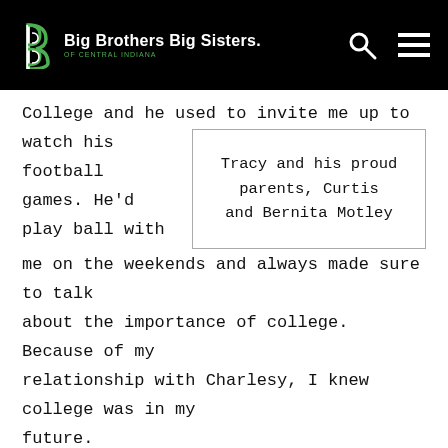Big Brothers Big Sisters of Central Indiana
College and he used to invite me up to watch his football games. He'd play ball with me on the weekends and always made sure to talk about the importance of college. Because of my relationship with Charlesy, I knew college was in my future.
Tracy and his proud parents, Curtis and Bernita Motley
As a 22-year-old, I have learned to attend first...